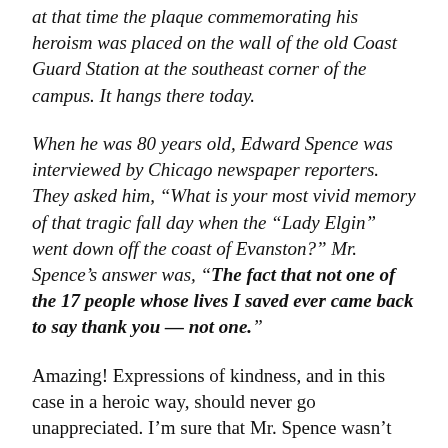at that time the plaque commemorating his heroism was placed on the wall of the old Coast Guard Station at the southeast corner of the campus. It hangs there today.
When he was 80 years old, Edward Spence was interviewed by Chicago newspaper reporters. They asked him, “What is your most vivid memory of that tragic fall day when the “Lady Elgin” went down off the coast of Evanston?” Mr. Spence’s answer was, “The fact that not one of the 17 people whose lives I saved ever came back to say thank you — not one.”
Amazing! Expressions of kindness, and in this case in a heroic way, should never go unappreciated. I’m sure that Mr. Spence wasn’t